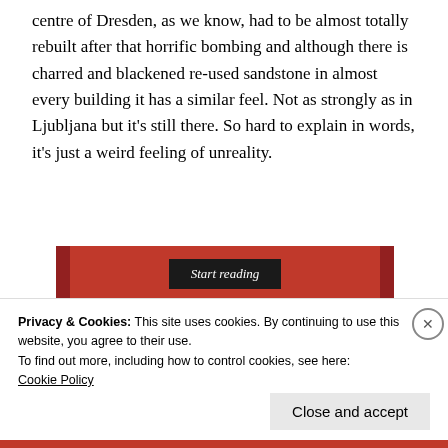centre of Dresden, as we know, had to be almost totally rebuilt after that horrific bombing and although there is charred and blackened re-used sandstone in almost every building it has a similar feel. Not as strongly as in Ljubljana but it's still there. So hard to explain in words, it's just a weird feeling of unreality.
[Figure (screenshot): Red banner with 'Start reading' button in black]
Privacy & Cookies: This site uses cookies. By continuing to use this website, you agree to their use.
To find out more, including how to control cookies, see here:
Cookie Policy
Close and accept